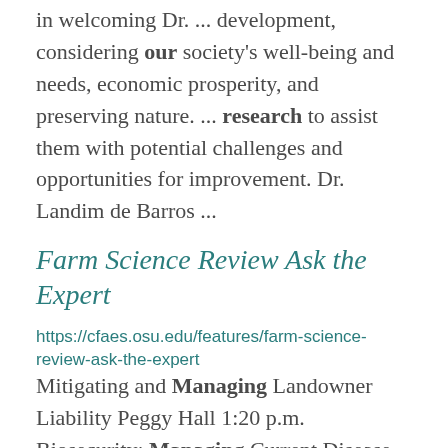in welcoming Dr. ... development, considering our society's well-being and needs, economic prosperity, and preserving nature. ... research to assist them with potential challenges and opportunities for improvement. Dr. Landim de Barros ...
Farm Science Review Ask the Expert
https://cfaes.osu.edu/features/farm-science-review-ask-the-expert
Mitigating and Managing Landowner Liability Peggy Hall 1:20 p.m. Biosecurity: Managing Current Disease ... Challenges